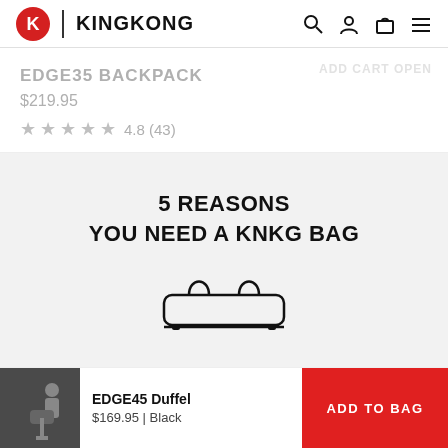[Figure (logo): KingKong logo with red K icon and bold text]
EDGE35 BACKPACK
$219.95
★★★★★ 4.8 (43)
5 REASONS YOU NEED A KNKG BAG
[Figure (illustration): Line illustration of a duffel bag with two handles]
EDGE45 Duffel
$169.95 | Black
ADD TO BAG